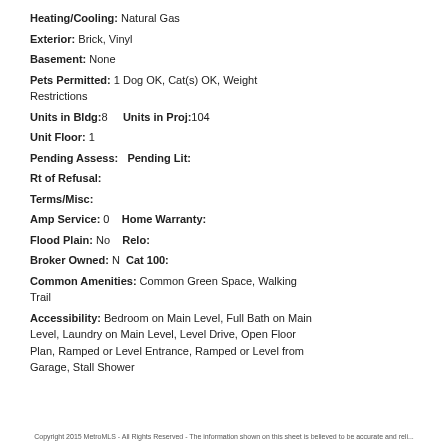Heating/Cooling: Natural Gas
Exterior: Brick, Vinyl
Basement: None
Pets Permitted: 1 Dog OK, Cat(s) OK, Weight Restrictions
Units in Bldg:8    Units in Proj:104
Unit Floor: 1
Pending Assess:   Pending Lit:
Rt of Refusal:
Terms/Misc:
Amp Service: 0   Home Warranty:
Flood Plain: No   Relo:
Broker Owned: N  Cat 100:
Common Amenities: Common Green Space, Walking Trail
Accessibility: Bedroom on Main Level, Full Bath on Main Level, Laundry on Main Level, Level Drive, Open Floor Plan, Ramped or Level Entrance, Ramped or Level from Garage, Stall Shower
Copyright 2015 MetroMLS - All Rights Reserved - The information shown on this sheet is believed to be accurate and reli...